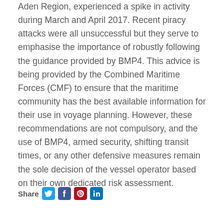Aden Region, experienced a spike in activity during March and April 2017. Recent piracy attacks were all unsuccessful but they serve to emphasise the importance of robustly following the guidance provided by BMP4. This advice is being provided by the Combined Maritime Forces (CMF) to ensure that the maritime community has the best available information for their use in voyage planning. However, these recommendations are not compulsory, and the use of BMP4, armed security, shifting transit times, or any other defensive measures remain the sole decision of the vessel operator based on their own dedicated risk assessment.
[Figure (other): Social share bar with Share label and icons for Twitter, Facebook, Pinterest, and LinkedIn]